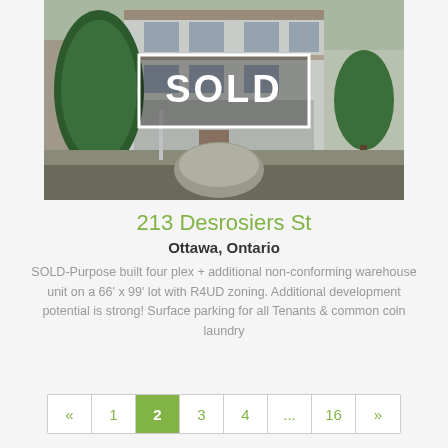[Figure (photo): Exterior photo of a multi-unit residential building (four-plex) with a SOLD overlay banner in white border. The building is white/grey, two-storey, with trees in the foreground and a large rock in the front yard.]
213 Desrosiers St
Ottawa, Ontario
SOLD-Purpose built four plex + additional non-conforming warehouse unit on a 66' x 99' lot with R4UD zoning. Additional development potential is strong! Surface parking for all Tenants & common coin laundry
« 1 2 3 4 ... 16 »